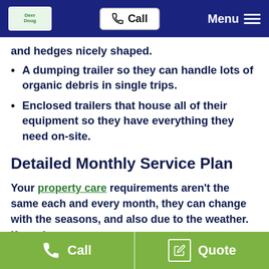Call | Menu
and hedges nicely shaped.
A dumping trailer so they can handle lots of organic debris in single trips.
Enclosed trailers that house all of their equipment so they have everything they need on-site.
Detailed Monthly Service Plan
Your property care requirements aren't the same each and every month, they can change with the seasons, and also due to the weather.  If you have
Call | Quote